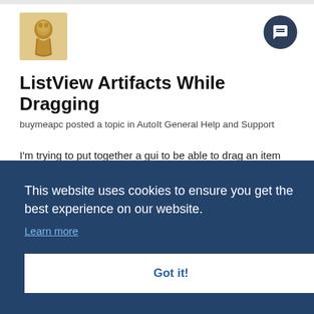[Figure (photo): User avatar showing a golden statue/bust figure on a light background]
[Figure (other): Dark circular chat/comment button icon in top right corner]
ListView Artifacts While Dragging
buymeapc posted a topic in AutoIt General Help and Support
I'm trying to put together a gui to be able to drag an item from one listview into another. I've found some very nice examples on the forum. However, I'm having a bit of an issue. When I drag an item from either of the listview controls to the other, artifacts appear
This website uses cookies to ensure you get the best experience on our website.
Learn more
Got it!